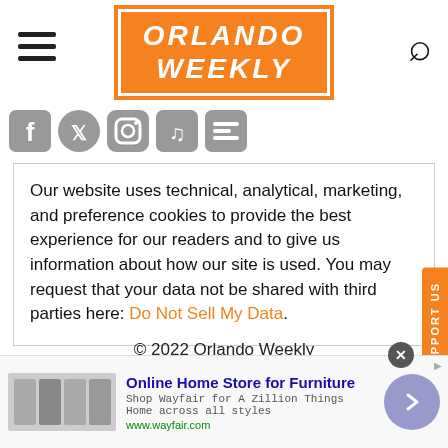[Figure (logo): Orlando Weekly logo — white text on orange background inside a white-bordered rectangle]
[Figure (illustration): Row of social media icons: Facebook, Twitter, Instagram, TikTok, Google News]
Our website uses technical, analytical, marketing, and preference cookies to provide the best experience for our readers and to give us information about how our site is used. You may request that your data not be shared with third parties here: Do Not Sell My Data.
© 2022 Orlando Weekly
Powered by Foundation
[Figure (infographic): Advertisement banner: Online Home Store for Furniture — Shop Wayfair for A Zillion Things Home across all styles — www.wayfair.com]